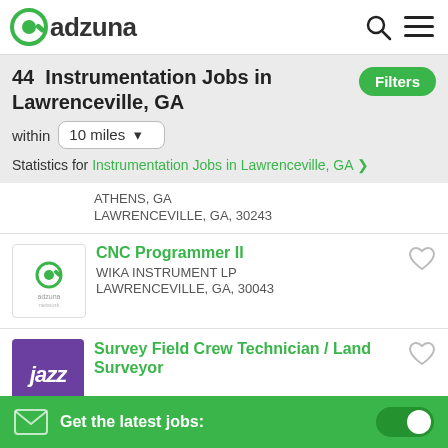adzuna
44 Instrumentation Jobs in Lawrenceville, GA
within 10 miles
Statistics for Instrumentation Jobs in Lawrenceville, GA ›
ATHENS, GA
LAWRENCEVILLE, GA, 30243
CNC Programmer II
WIKA INSTRUMENT LP
LAWRENCEVILLE, GA, 30043
Survey Field Crew Technician / Land Surveyor
Get the latest jobs: